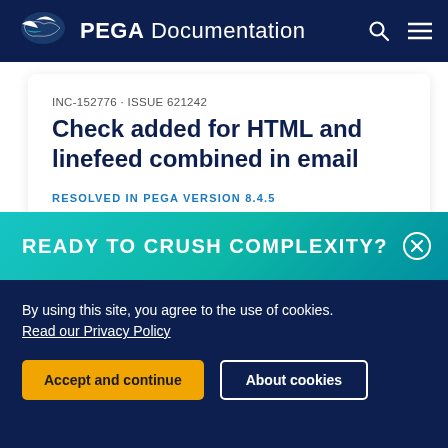PEGA Documentation
INC-152776 · ISSUE 621242
Check added for HTML and linefeed combined in email
RESOLVED IN PEGA VERSION 8.4.5
In the Interaction right hand pane Email triage widget, additional line breaks were seen when displaying email message data that contained
READY TO CRUSH COMPLEXITY?
By using this site, you agree to the use of cookies.
Read our Privacy Policy
Accept and continue
About cookies